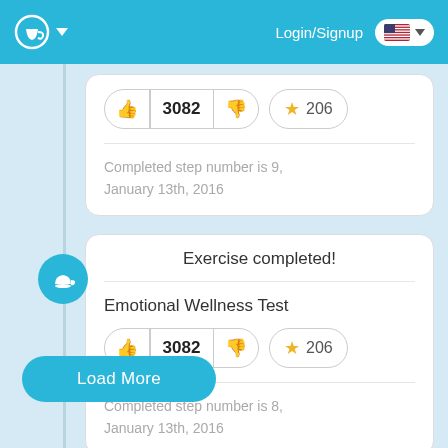Login/Signup
Exercise completed!
Emotional Wellness Test
3082
206
Completed step number is 9, January 13th, 2016
Exercise completed!
Emotional Wellness Test
3082
206
Completed step number is 8, January 13th, 2016
Load More